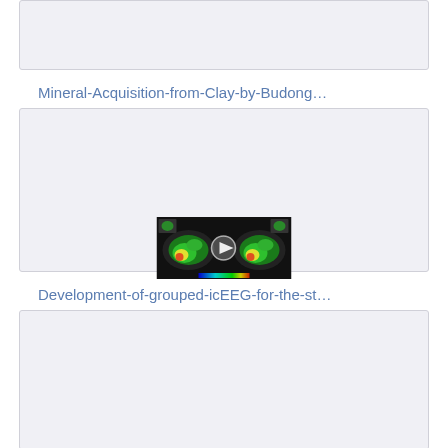[Figure (other): Gray card placeholder at top of page]
Mineral-Acquisition-from-Clay-by-Budong…
[Figure (screenshot): Video thumbnail showing two brain scan images side by side with a play button in the center, colorful heat-map style brain activity visualization on black background]
Development-of-grouped-icEEG-for-the-st…
[Figure (photo): Photo of a dark brown animal (possibly a primate or bear cat) clinging to a tree trunk in a forest setting]